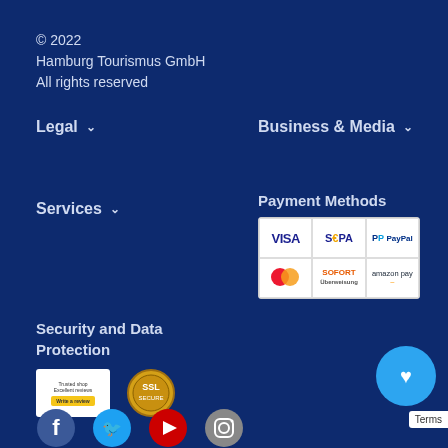© 2022
Hamburg Tourismus GmbH
All rights reserved
Legal ∨
Business & Media ∨
Services ∨
Payment Methods
[Figure (infographic): Payment method logos grid: VISA, SEPA, PayPal, Mastercard, SOFORT, amazon pay]
Security and Data Protection
[Figure (infographic): Trustpilot-style review badge with 'Write a review' button, and SSL security badge (gold circle with SSL text)]
[Figure (infographic): Social media icons row: Facebook, Twitter, YouTube, Instagram]
Terms